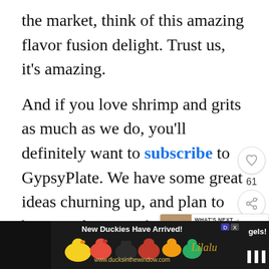the market, think of this amazing flavor fusion delight. Trust us, it’s amazing.
And if you love shrimp and grits as much as we do, you’ll definitely want to subscribe to GypsyPlate. We have some great ideas churning up, and plan to become the go-to food blog for all your shrimp and grits needs.
In the meantime, give this great recipe a try, a please let us know how you love it. A the next post in this series, you can also satisfy
[Figure (other): Advertisement banner: New Duckies Have Arrived! showing colorful rubber ducks, website www.ducksinthewindow.com]
[Figure (infographic): What's Next card showing Surf and Turf Shrimp and... with food thumbnail image]